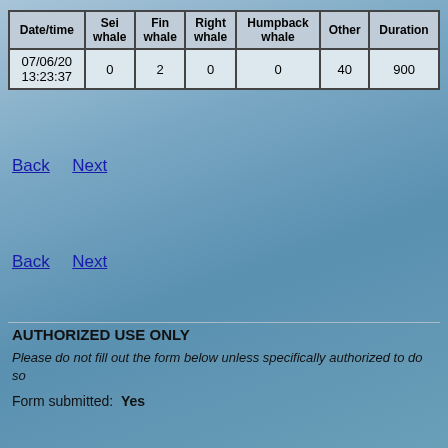| Date/time | Sei whale | Fin whale | Right whale | Humpback whale | Other | Duration |
| --- | --- | --- | --- | --- | --- | --- |
| 07/06/20 13:23:37 | 0 | 2 | 0 | 0 | 40 | 900 |
Back   Next
Back   Next
AUTHORIZED USE ONLY
Please do not fill out the form below unless specifically authorized to do so
Form submitted:  Yes